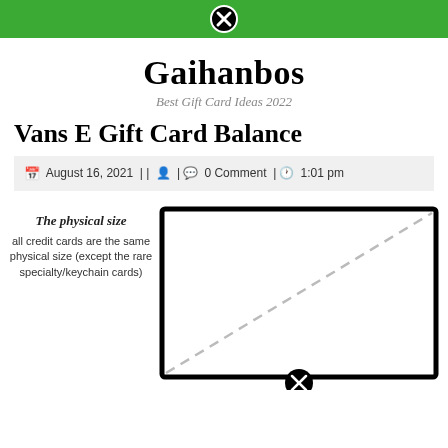Gaihanbos — navigation bar with close button
Gaihanbos
Best Gift Card Ideas 2022
Vans E Gift Card Balance
August 16, 2021 | | | 0 Comment | 1:01 pm
[Figure (illustration): A rectangle representing the physical size of a credit card, with a dashed diagonal line from bottom-left to top-right. A close/cancel button icon appears at the bottom center.]
The physical size
all credit cards are the same physical size (except the rare specialty/keychain cards)